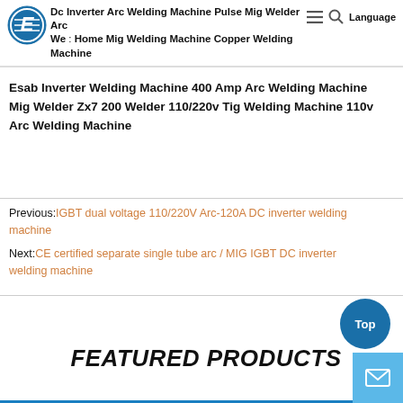Dc Inverter Arc Welding Machine Pulse Mig Welder Arc We : Home Mig Welding Machine Copper Welding Machine Esab Inverter Welding Machine 400 Amp Arc Welding Machine Mig Welder Zx7 200 Welder 110/220v Tig Welding Machine 110v Arc Welding Machine
Previous: IGBT dual voltage 110/220V Arc-120A DC inverter welding machine
Next: CE certified separate single tube arc / MIG IGBT DC inverter welding machine
FEATURED PRODUCTS